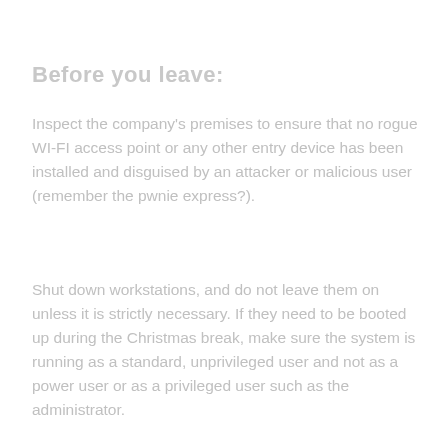Before you leave:
Inspect the company's premises to ensure that no rogue WI-FI access point or any other entry device has been installed and disguised by an attacker or malicious user (remember the pwnie express?).
Shut down workstations, and do not leave them on unless it is strictly necessary. If they need to be booted up during the Christmas break, make sure the system is running as a standard, unprivileged user and not as a power user or as a privileged user such as the administrator.